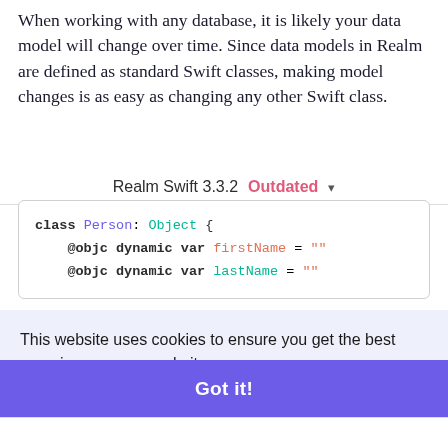When working with any database, it is likely your data model will change over time. Since data models in Realm are defined as standard Swift classes, making model changes is as easy as changing any other Swift class.
Realm Swift 3.3.2  Outdated ▾
[Figure (screenshot): Code block showing Swift class definition: class Person: Object { @objc dynamic var firstName = "" @objc dynamic var lastName = "" }]
This website uses cookies to ensure you get the best experience on our website.
Learn more
nd
Got it!